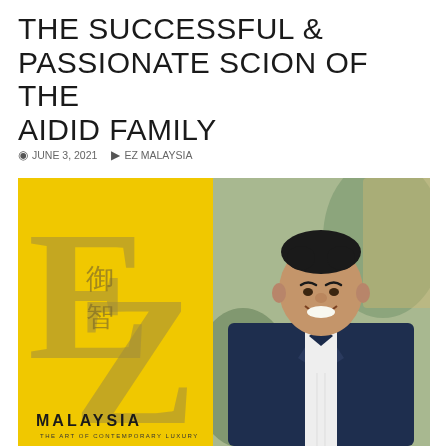THE SUCCESSFUL & PASSIONATE SCION OF THE AIDID FAMILY
JUNE 3, 2021   EZ MALAYSIA
[Figure (photo): A smiling young man in a navy blue suit with a bow tie, posed in front of a yellow EZ Malaysia magazine backdrop with Chinese characters and the text 'MALAYSIA THE ART OF CONTEMPORARY LUXURY']